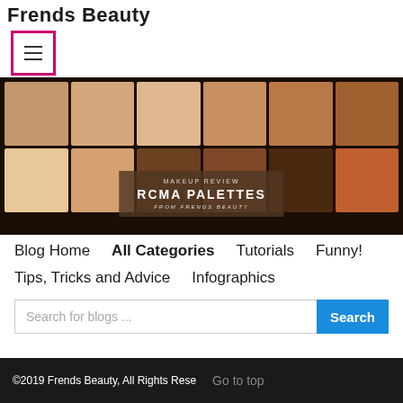Frends Beauty
[Figure (photo): RCMA makeup palette with skin-tone swatches arranged in a grid. Overlay text reads: MAKEUP REVIEW / RCMA PALETTES / FROM FRENDS BEAUTY]
Blog Home
All Categories
Tutorials
Funny!
Tips, Tricks and Advice
Infographics
Search for blogs ...
©2019 Frends Beauty, All Rights Rese   Go to top